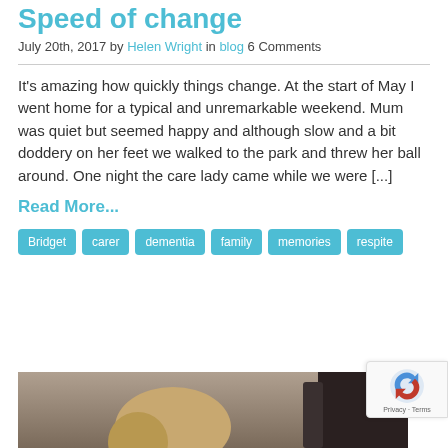Speed of change
July 20th, 2017 by Helen Wright in blog 6 Comments
It's amazing how quickly things change. At the start of May I went home for a typical and unremarkable weekend. Mum was quiet but seemed happy and although slow and a bit doddery on her feet we walked to the park and threw her ball around. One night the care lady came while we were [...]
Read More...
Bridget
carer
dementia
family
memories
respite
[Figure (photo): Partial photo of a person with blonde/brown hair at the bottom of the page]